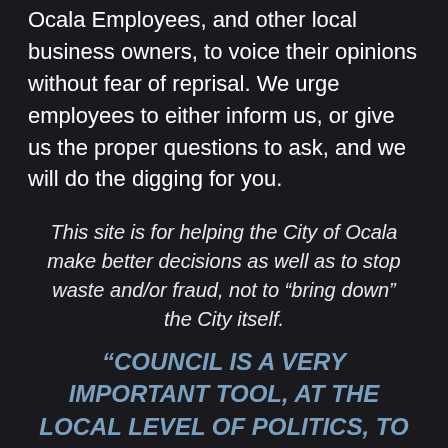Ocala Employees, and other local business owners, to voice their opinions without fear of reprisal. We urge employees to either inform us, or give us the proper questions to ask, and we will do the digging for you.
This site is for helping the City of Ocala make better decisions as well as to stop waste and/or fraud, not to “bring down” the City itself.
“COUNCIL IS A VERY IMPORTANT TOOL, AT THE LOCAL LEVEL OF POLITICS, TO KEEP THE CITY OF OCALA A GREAT PLACE TO LIVE AND WORK. MAKE SURE TO VOTE FOR